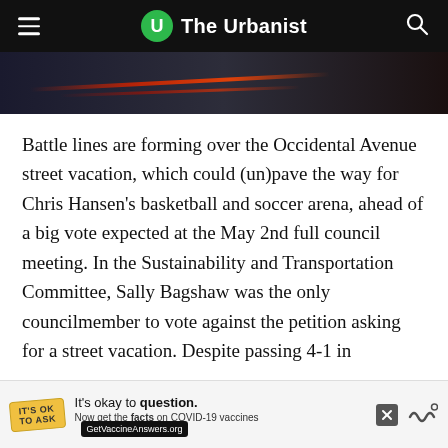The Urbanist
[Figure (photo): Dark nighttime photo with red light streaks, likely a road or vehicle light trail]
Battle lines are forming over the Occidental Avenue street vacation, which could (un)pave the way for Chris Hansen’s basketball and soccer arena, ahead of a big vote expected at the May 2nd full council meeting. In the Sustainability and Transportation Committee, Sally Bagshaw was the only councilmember to vote against the petition asking for a street vacation. Despite passing 4-1 in committee, the proposal could still fail if the four remaining councilmembers, who have yet to weigh in, vote against it at the full council meeting. Go to 2:30:00 in the committee meeting video to hear Bagshaw excoriate the street vacation
[Figure (other): Advertisement banner: It's okay to question. Now get the facts on COVID-19 vaccines. GetVaccineAnswers.org]